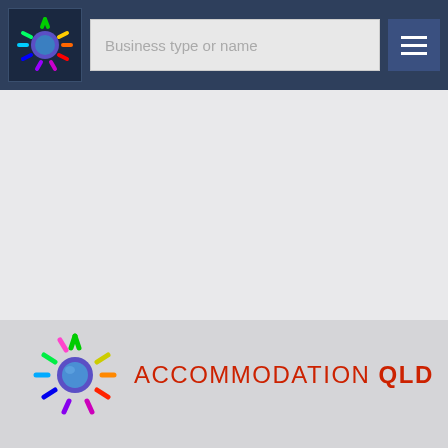[Figure (screenshot): Website header navigation bar with colorful sun logo on dark navy background, search input field with placeholder text 'Business type or name', and hamburger menu button on the right]
[Figure (logo): Accommodation QLD logo with colorful sun icon and text 'ACCOMMODATION QLD' in red, with 'QLD' in bold]
Business type or name